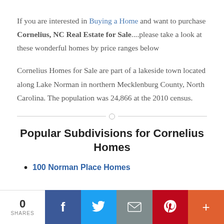If you are interested in Buying a Home and want to purchase Cornelius, NC Real Estate for Sale....please take a look at these wonderful homes by price ranges below
Cornelius Homes for Sale are part of a lakeside town located along Lake Norman in northern Mecklenburg County, North Carolina. The population was 24,866 at the 2010 census.
Popular Subdivisions for Cornelius Homes
100 Norman Place Homes
0 SHARES | Facebook | Twitter | Email | Pinterest | More